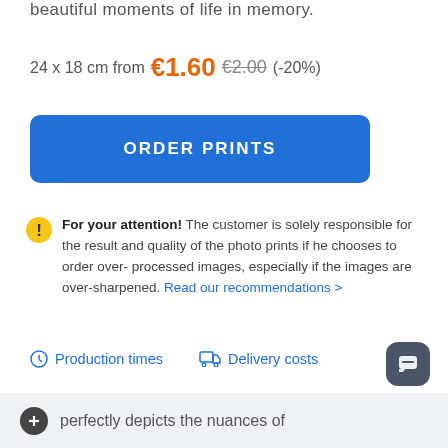beautiful moments of life in memory.
24 x 18 cm from €1.60 €2.00 (-20%)
ORDER PRINTS
For your attention! The customer is solely responsible for the result and quality of the photo prints if he chooses to order over-processed images, especially if the images are over-sharpened. Read our recommendations >
Production times
Delivery costs
perfectly depicts the nuances of